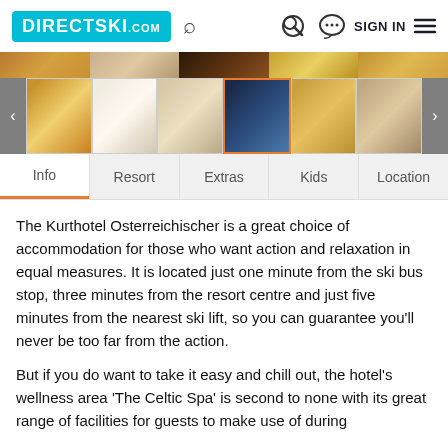DIRECTSKI.com — Search, Sign In, Menu
[Figure (photo): Hotel room and exterior thumbnail image strip at top]
[Figure (photo): Row of hotel photo thumbnails including bedroom, lounge, exterior night view, and pool]
[Figure (screenshot): Navigation tabs: Info (active), Resort, Extras, Kids, Location]
The Kurthotel Osterreichischer is a great choice of accommodation for those who want action and relaxation in equal measures. It is located just one minute from the ski bus stop, three minutes from the resort centre and just five minutes from the nearest ski lift, so you can guarantee you'll never be too far from the action.
But if you do want to take it easy and chill out, the hotel's wellness area 'The Celtic Spa' is second to none with its great range of facilities for guests to make use of during